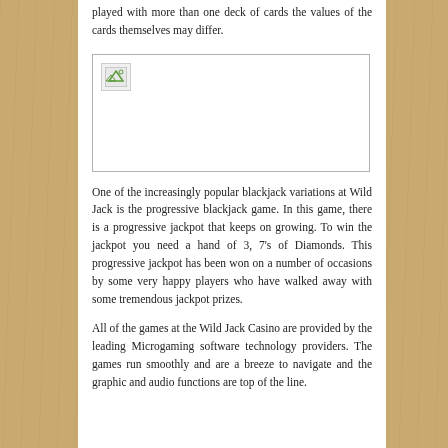played with more than one deck of cards the values of the cards themselves may differ.
[Figure (photo): Broken/missing image placeholder with small image icon in top-left corner]
One of the increasingly popular blackjack variations at Wild Jack is the progressive blackjack game. In this game, there is a progressive jackpot that keeps on growing. To win the jackpot you need a hand of 3, 7's of Diamonds. This progressive jackpot has been won on a number of occasions by some very happy players who have walked away with some tremendous jackpot prizes.
All of the games at the Wild Jack Casino are provided by the leading Microgaming software technology providers. The games run smoothly and are a breeze to navigate and the graphic and audio functions are top of the line.